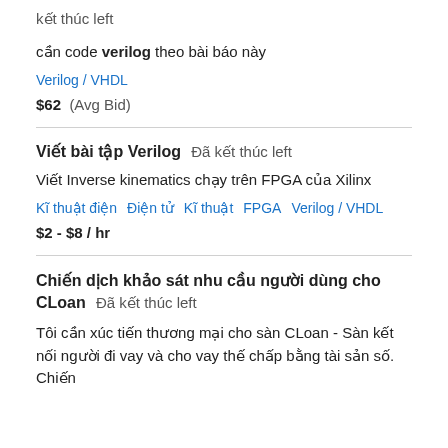kết thúc left
cần code verilog theo bài báo này
Verilog / VHDL
$62  (Avg Bid)
Viết bài tập Verilog  Đã kết thúc left
Viết Inverse kinematics chạy trên FPGA của Xilinx
Kĩ thuật điện   Điện tử   Kĩ thuật   FPGA   Verilog / VHDL
$2 - $8 / hr
Chiến dịch khảo sát nhu cầu người dùng cho CLoan  Đã kết thúc left
Tôi cần xúc tiến thương mại cho sàn CLoan - Sàn kết nối người đi vay và cho vay thế chấp bằng tài sản số. Chiến